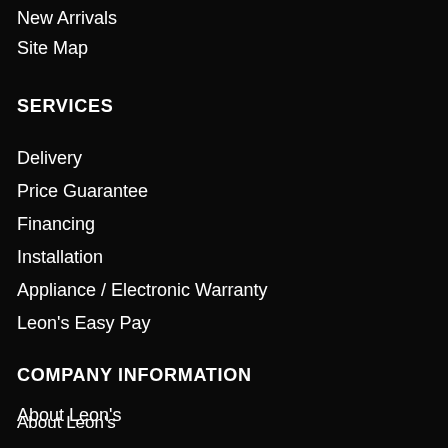New Arrivals
Site Map
SERVICES
Delivery
Price Guarantee
Financing
Installation
Appliance / Electronic Warranty
Leon's Easy Pay
COMPANY INFORMATION
About Leon's
Careers
Privacy Policy